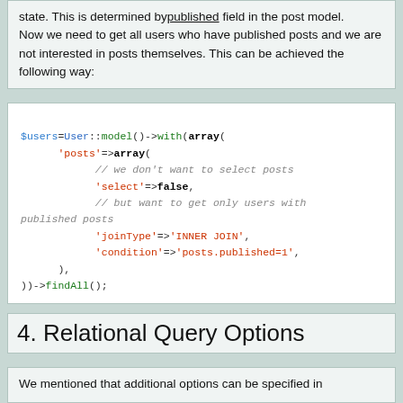state. This is determined bypublished field in the post model. Now we need to get all users who have published posts and we are not interested in posts themselves. This can be achieved the following way:
[Figure (screenshot): PHP code block showing $users=User::model()->with(array('posts'=>array('select'=>false, 'joinType'=>'INNER JOIN', 'condition'=>'posts.published=1',),))->findAll();]
4. Relational Query Options
We mentioned that additional options can be specified in